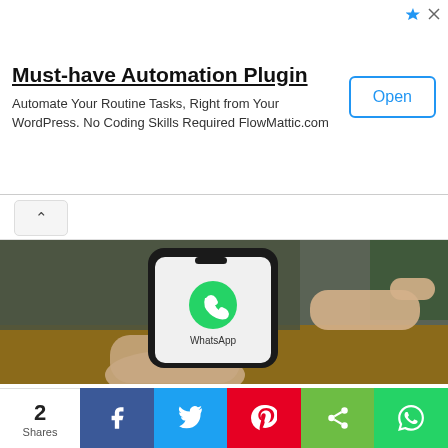[Figure (infographic): Advertisement banner for 'Must-have Automation Plugin' by FlowMattic.com with Open button]
Must-have Automation Plugin
Automate Your Routine Tasks, Right from Your WordPress. No Coding Skills Required FlowMattic.com
[Figure (photo): Person holding a smartphone displaying WhatsApp logo and app name on the screen, pointing at the screen with a finger, blurred café/table background]
Latest
Technology